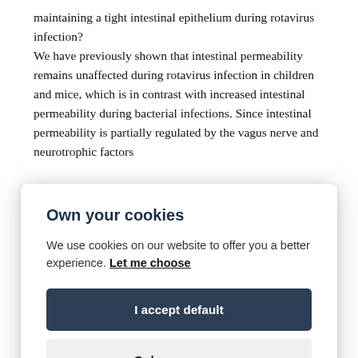maintaining a tight intestinal epithelium during rotavirus infection?
We have previously shown that intestinal permeability remains unaffected during rotavirus infection in children and mice, which is in contrast with increased intestinal permeability during bacterial infections. Since intestinal permeability is partially regulated by the vagus nerve and neurotrophic factors
Own your cookies
We use cookies on our website to offer you a better experience. Let me choose
I accept default
Only necessary
of a robust and reproducible in vitro cultivation system and a